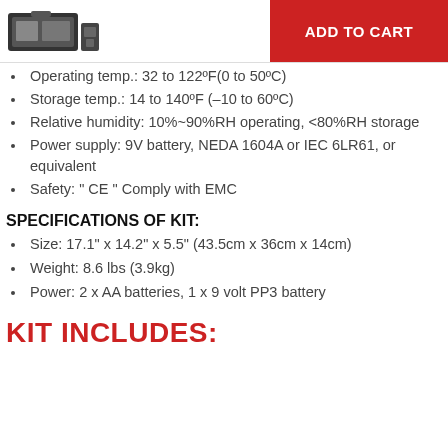[Figure (logo): Product/brand logo image in top left header area]
ADD TO CART
Operating temp.: 32 to 122ºF(0 to 50ºC)
Storage temp.: 14 to 140ºF (–10 to 60ºC)
Relative humidity: 10%~90%RH operating, <80%RH storage
Power supply: 9V battery, NEDA 1604A or IEC 6LR61, or equivalent
Safety: " CE " Comply with EMC
SPECIFICATIONS OF KIT:
Size: 17.1" x 14.2" x 5.5" (43.5cm x 36cm x 14cm)
Weight: 8.6 lbs (3.9kg)
Power: 2 x AA batteries, 1 x 9 volt PP3 battery
KIT INCLUDES: